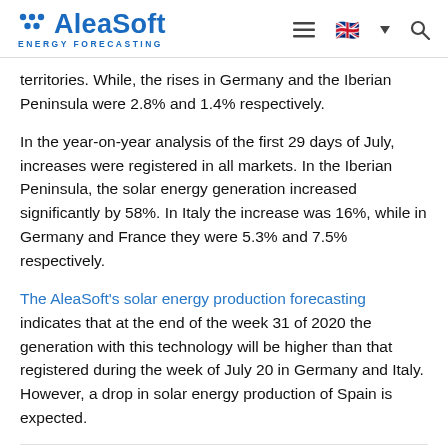AleaSoft ENERGY FORECASTING
territories. While, the rises in Germany and the Iberian Peninsula were 2.8% and 1.4% respectively.
In the year-on-year analysis of the first 29 days of July, increases were registered in all markets. In the Iberian Peninsula, the solar energy generation increased significantly by 58%. In Italy the increase was 16%, while in Germany and France they were 5.3% and 7.5% respectively.
The AleaSoft's solar energy production forecasting indicates that at the end of the week 31 of 2020 the generation with this technology will be higher than that registered during the week of July 20 in Germany and Italy. However, a drop in solar energy production of Spain is expected.
European solar energy production [GWh]